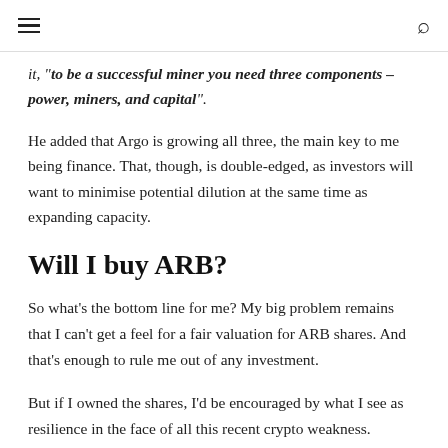≡  🔍
it, "to be a successful miner you need three components – power, miners, and capital".
He added that Argo is growing all three, the main key to me being finance. That, though, is double-edged, as investors will want to minimise potential dilution at the same time as expanding capacity.
Will I buy ARB?
So what's the bottom line for me? My big problem remains that I can't get a feel for a fair valuation for ARB shares. And that's enough to rule me out of any investment.
But if I owned the shares, I'd be encouraged by what I see as resilience in the face of all this recent crypto weakness.
The post After the latest ARB share price slide, is it finally time to buy?